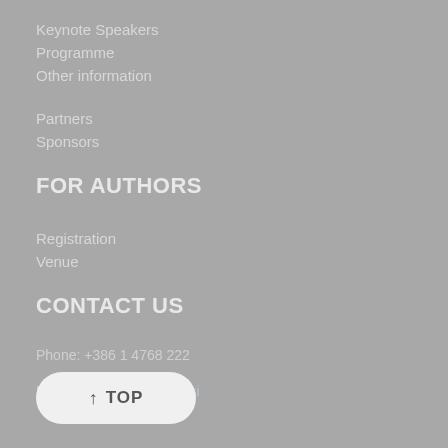Keynote Speakers
Programme
Other information
Partners
Sponsors
FOR AUTHORS
Registration
Venue
CONTACT US
Phone: +386 1 4768 222
E-mail: eem19@fe.uni-lj.si
↑ TOP